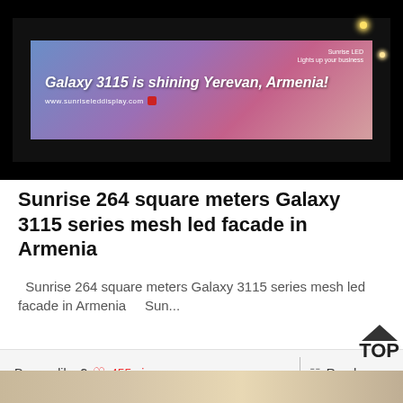[Figure (photo): Night photo of an outdoor LED billboard displaying 'Galaxy 3115 is shining Yerevan, Armenia!' with purple/blue sky background. Text also shows 'Sunrise LED Lights up your business' and 'www.sunriseleddisplay.com'. Billboard is mounted on a dark building at night.]
Sunrise 264 square meters Galaxy 3115 series mesh led facade in Armenia
Sunrise 264 square meters Galaxy 3115 series mesh led facade in Armenia     Sun...
Do you like ?  455 views    Read more